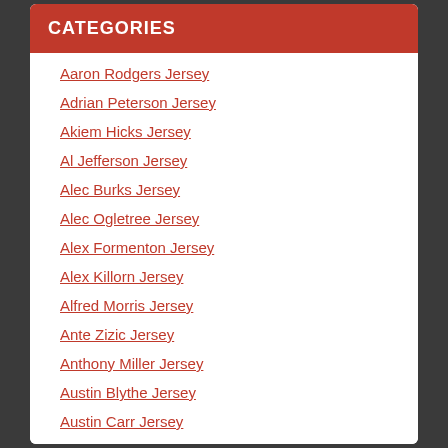CATEGORIES
Aaron Rodgers Jersey
Adrian Peterson Jersey
Akiem Hicks Jersey
Al Jefferson Jersey
Alec Burks Jersey
Alec Ogletree Jersey
Alex Formenton Jersey
Alex Killorn Jersey
Alfred Morris Jersey
Ante Zizic Jersey
Anthony Miller Jersey
Austin Blythe Jersey
Austin Carr Jersey
Austin Corbett Jersey
Baker Mayfield Jersey
Ben Banogu Jersey
Ben Gedeon Jersey
Benoit Pouliot Jersey
Bill Mazeroski Jersey